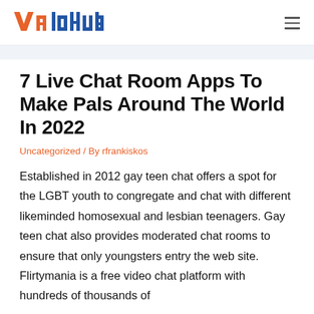[Logo: ValoHub] [hamburger menu]
7 Live Chat Room Apps To Make Pals Around The World In 2022
Uncategorized / By rfrankiskos
Established in 2012 gay teen chat offers a spot for the LGBT youth to congregate and chat with different likeminded homosexual and lesbian teenagers. Gay teen chat also provides moderated chat rooms to ensure that only youngsters entry the web site. Flirtymania is a free video chat platform with hundreds of thousands of